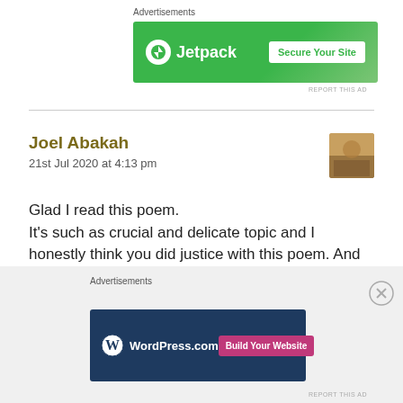Advertisements
[Figure (screenshot): Jetpack advertisement banner with green background, Jetpack logo on left and 'Secure Your Site' white button on right]
REPORT THIS AD
Joel Abakah
21st Jul 2020 at 4:13 pm
[Figure (photo): Small square avatar thumbnail showing a warm-toned photo]
Glad I read this poem.
It's such as crucial and delicate topic and I honestly think you did justice with this poem. And the addition of the quotes was just right.
Thank you for this post 💚
Advertisements
[Figure (screenshot): WordPress.com advertisement banner with dark navy background, WordPress logo on left and pink 'Build Your Website' button on right]
REPORT THIS AD